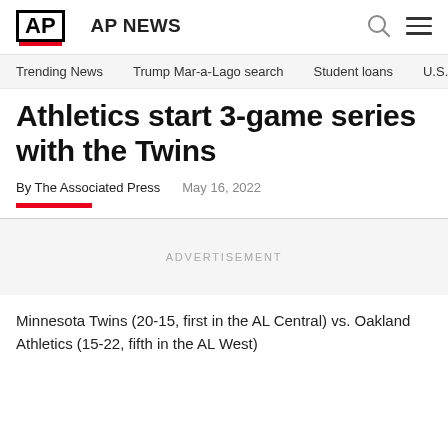AP AP NEWS
Trending News   Trump Mar-a-Lago search   Student loans   U.S.
Athletics start 3-game series with the Twins
By The Associated Press   May 16, 2022
ADVERTISEMENT
Minnesota Twins (20-15, first in the AL Central) vs. Oakland Athletics (15-22, fifth in the AL West)